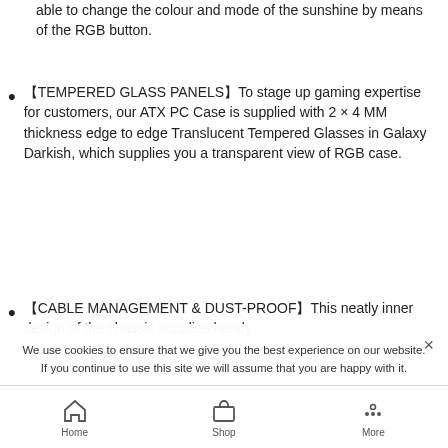able to change the colour and mode of the sunshine by means of the RGB button.
【TEMPERED GLASS PANELS】To stage up gaming expertise for customers, our ATX PC Case is supplied with 2 × 4 MM thickness edge to edge Translucent Tempered Glasses in Galaxy Darkish, which supplies you a transparent view of RGB case.
【CABLE MANAGEMENT & DUST-PROOF】This neatly inner design of the chassis supplies handy...
We use cookies to ensure that we give you the best experience on our website. If you continue to use this site we will assume that you are happy with it.
Home  Shop  More